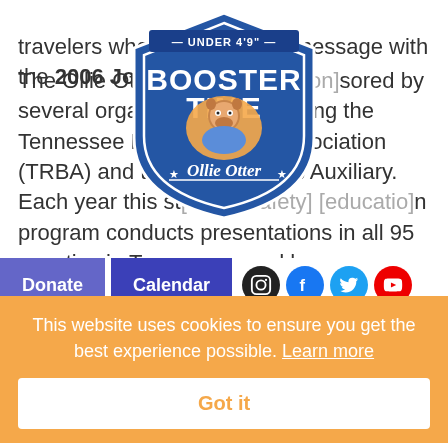travelers who shared Ollie's message with the 2006 Johnson [group].
[Figure (logo): Ollie Otter Booster Time shield badge logo — blue shield shape with text 'UNDER 4'9"', 'BOOSTER TIME', cartoon otter character, and 'Ollie Otter' script]
The Ollie Otter [Program] [is spon]sored by several organiza[tions, includi]ng the Tennessee Road Builders Association (TRBA) and the TRBA Ladies Auxiliary. Each year this st[udent safety] [educatio]n program conducts presentations in all 95 counties in Tennessee, and has grown over the years to include nine other states across the country.
"Our goal is to try to educate children through